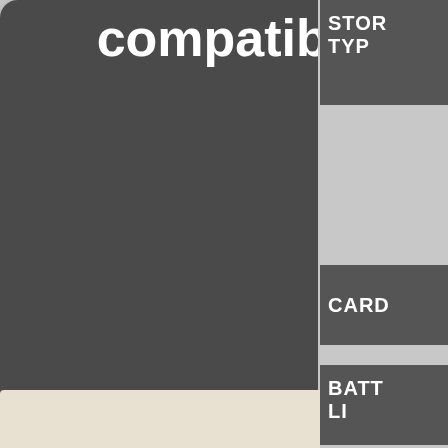compatible), Sony Memory Sticks
1
360 shots
[Figure (infographic): Battery life bar indicator showing approximately 1 out of 6 segments filled in orange, rest dark/empty]
STOR TYP
CARD
BATT LI